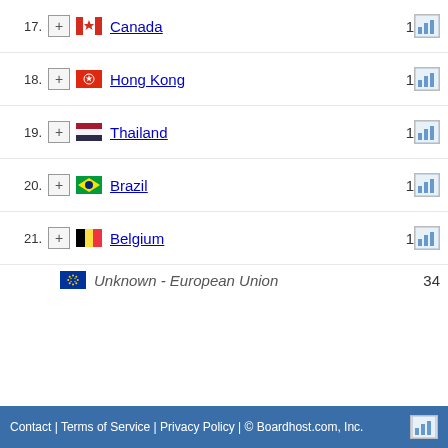17. Canada 1
18. Hong Kong 1
19. Thailand 1
20. Brazil 1
21. Belgium 1
Unknown - European Union 34
Contact | Terms of Service | Privacy Policy | © Boardhost.com, Inc.